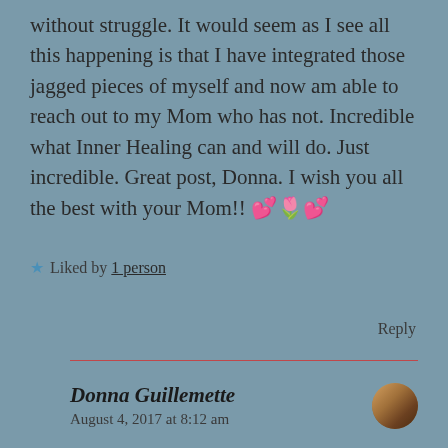without struggle. It would seem as I see all this happening is that I have integrated those jagged pieces of myself and now am able to reach out to my Mom who has not. Incredible what Inner Healing can and will do. Just incredible. Great post, Donna. I wish you all the best with your Mom!! 💕🌷💕
★ Liked by 1 person
Reply
Donna Guillemette
August 4, 2017 at 8:12 am
How true, all of it, and a blessing you have this awareness. You can BE with your mother now as